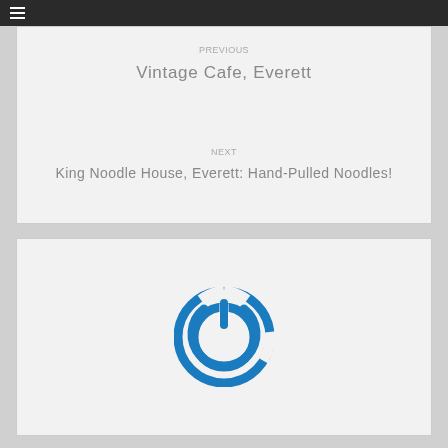Previous
Vintage Cafe, Everett
Next
King Noodle House, Everett: Hand-Pulled Noodles!
[Figure (logo): Blue circular power button logo icon]